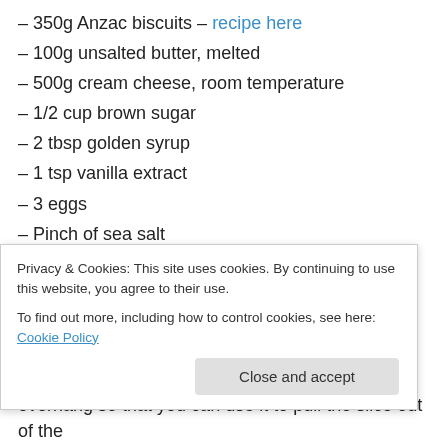– 350g Anzac biscuits – recipe here
– 100g unsalted butter, melted
– 500g cream cheese, room temperature
– 1/2 cup brown sugar
– 2 tbsp golden syrup
– 1 tsp vanilla extract
– 3 eggs
– Pinch of sea salt
– 250g natural yoghurt
– 1 tbsp cornflour
– 1/2 cup shredded coconut, toasted
Privacy & Cookies: This site uses cookies. By continuing to use this website, you agree to their use. To find out more, including how to control cookies, see here: Cookie Policy
overhang so that you can use it to pull the slice out of the